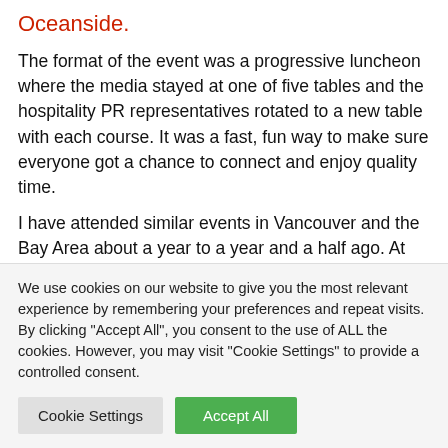Oceanside.
The format of the event was a progressive luncheon where the media stayed at one of five tables and the hospitality PR representatives rotated to a new table with each course. It was a fast, fun way to make sure everyone got a chance to connect and enjoy quality time.
I have attended similar events in Vancouver and the Bay Area about a year to a year and a half ago. At those events I was representing all of our hospitality PR clients – from Tenaya Lodge at Yosemite and Sequoia and Kings
We use cookies on our website to give you the most relevant experience by remembering your preferences and repeat visits. By clicking "Accept All", you consent to the use of ALL the cookies. However, you may visit "Cookie Settings" to provide a controlled consent.